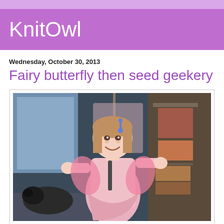KnitOwl
Wednesday, October 30, 2013
Fairy butterfly then seed geekery
[Figure (photo): A young girl in a pink long-sleeved top with butterfly wings accessory in her hair, smiling, with a dark dog visible at lower left and a clothing rack in the background.]